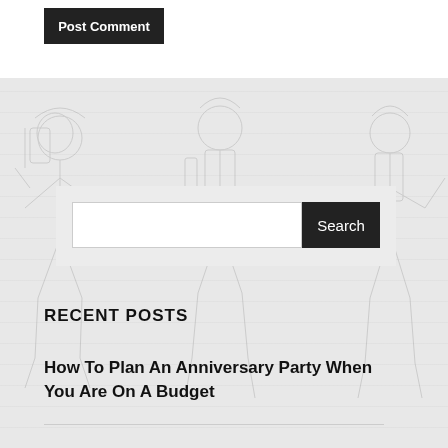[Figure (illustration): Faint line-art illustration of medieval or fantasy armored figures/soldiers as a background watermark across the lower portion of the page.]
Post Comment
Search
RECENT POSTS
How To Plan An Anniversary Party When You Are On A Budget
CATEGORIES